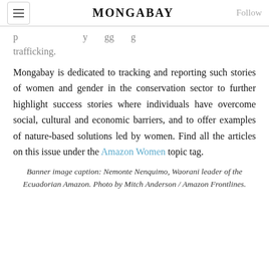MONGABAY
p … y gg g trafficking.
Mongabay is dedicated to tracking and reporting such stories of women and gender in the conservation sector to further highlight success stories where individuals have overcome social, cultural and economic barriers, and to offer examples of nature-based solutions led by women. Find all the articles on this issue under the Amazon Women topic tag.
Banner image caption: Nemonte Nenquimo, Waorani leader of the Ecuadorian Amazon. Photo by Mitch Anderson / Amazon Frontlines.